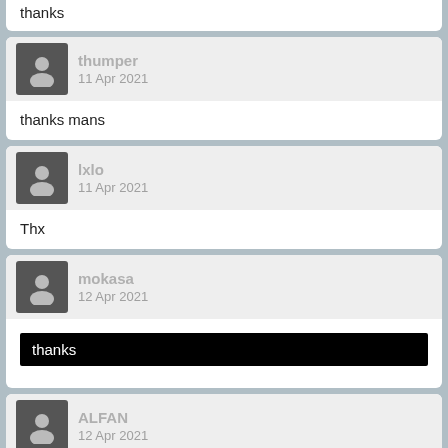thanks
thumper
11 Apr 2021
thanks mans
lxlo
11 Apr 2021
Thx
mokasa
12 Apr 2021
thanks
ALFAN
12 Apr 2021
Thanks for the post